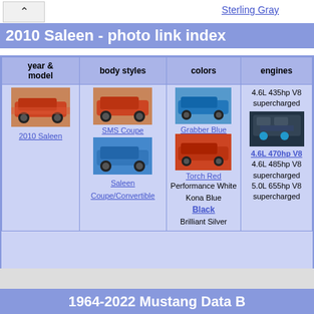^ Sterling Gray
2010 Saleen - photo link index
| year & model | body styles | colors | engines |
| --- | --- | --- | --- |
| 2010 Saleen | SMS Coupe
Saleen Coupe/Convertible | Grabber Blue
Torch Red
Performance White
Kona Blue
Black
Brilliant Silver | 4.6L 435hp V8 supercharged
4.6L 470hp V8
4.6L 485hp V8 supercharged
5.0L 655hp V8 supercharged |
1964-2022 Mustang Data B